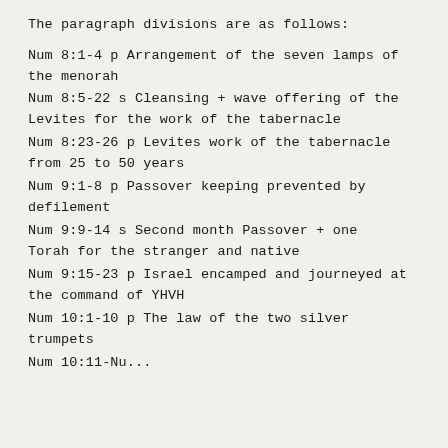The paragraph divisions are as follows:
Num 8:1-4 p Arrangement of the seven lamps of the menorah
Num 8:5-22 s Cleansing + wave offering of the Levites for the work of the tabernacle
Num 8:23-26 p Levites work of the tabernacle from 25 to 50 years
Num 9:1-8 p Passover keeping prevented by defilement
Num 9:9-14 s Second month Passover + one Torah for the stranger and native
Num 9:15-23 p Israel encamped and journeyed at the command of YHVH
Num 10:1-10 p The law of the two silver trumpets
Num 10:11-Nu...